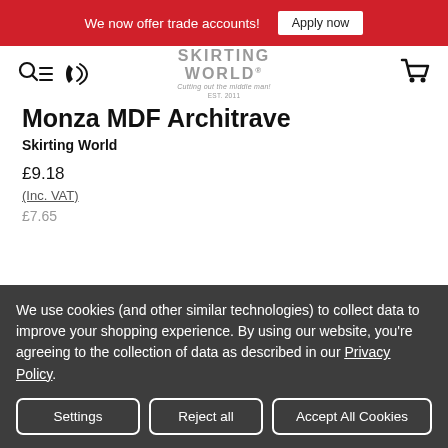We now offer trade accounts! Apply now
[Figure (logo): Skirting World logo with tagline 'Cutting out the middle man! EST. 2011']
Monza MDF Architrave
Skirting World
£9.18 (Inc. VAT) £7.65
We use cookies (and other similar technologies) to collect data to improve your shopping experience. By using our website, you're agreeing to the collection of data as described in our Privacy Policy.